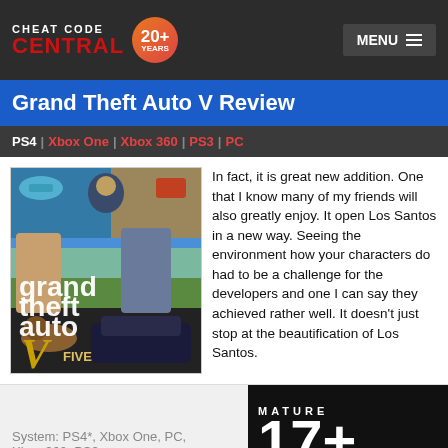CHEAT CODE CENTRAL 20+ YEARS | MENU
Grand Theft Auto V Review
PS4 | Xbox One | Xbox 360 | PS3 | PC
[Figure (photo): Grand Theft Auto V game cover art showing characters, vehicles, and the GTA V logo]
In fact, it is great new addition. One that I know many of my friends will also greatly enjoy. It open Los Santos in a new way. Seeing the environment how your characters do had to be a challenge for the developers and one I can say they achieved rather well. It doesn't just stop at the beautification of Los Santos.
[Figure (photo): MATURE 17+ ESRB rating label]
System: PS4*, Xbox One, PC, Xbox 360, PS3